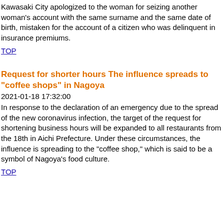Kawasaki City apologized to the woman for seizing another woman's account with the same surname and the same date of birth, mistaken for the account of a citizen who was delinquent in insurance premiums.
TOP
Request for shorter hours The influence spreads to "coffee shops" in Nagoya
2021-01-18 17:32:00
In response to the declaration of an emergency due to the spread of the new coronavirus infection, the target of the request for shortening business hours will be expanded to all restaurants from the 18th in Aichi Prefecture. Under these circumstances, the influence is spreading to the "coffee shop," which is said to be a symbol of Nagoya's food culture.
TOP